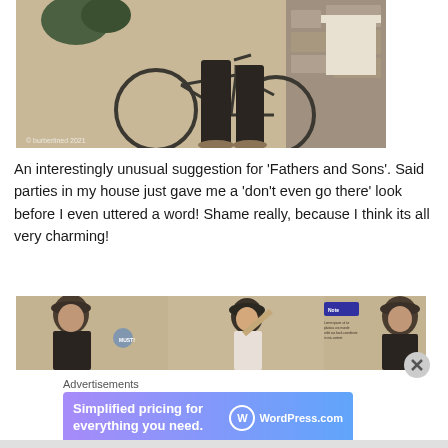[Figure (photo): Fashion photo showing lower half of a person in dark lace/crochet trousers and sandals standing next to a bicycle on a stone pavement]
An interestingly unusual suggestion for 'Fathers and Sons'. Said parties in my house just gave me a 'don't even go there' look before I even uttered a word! Shame really, because I think its all very charming!
[Figure (photo): Three-panel magazine spread showing men's fashion with a model wearing a flat cap and dark jacket, editorial layout with text columns]
Advertisements
[Figure (screenshot): WordPress.com advertisement banner reading 'Simplified pricing for everything you need.' with WordPress.com logo on gradient blue-purple background]